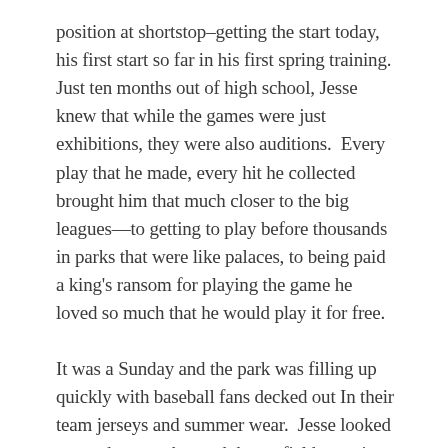position at shortstop–getting the start today, his first start so far in his first spring training.  Just ten months out of high school, Jesse knew that while the games were just exhibitions, they were also auditions.  Every play that he made, every hit he collected brought him that much closer to the big leagues—to getting to play before thousands in parks that were like palaces, to being paid a king's ransom for playing the game he loved so much that he would play it for free.
It was a Sunday and the park was filling up quickly with baseball fans decked out In their team jerseys and summer wear.  Jesse looked out at the grass beyond the outfield, teaming with folks spreading out blankets and lawn chairs, filling up every available space.  He had never played before a crowd like this.